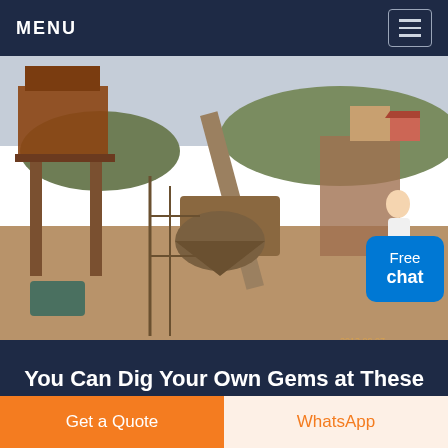MENU
[Figure (photo): Aerial view of a large open-pit mining and crushing facility with rusty industrial machinery, conveyors, crushers, and scaffolding. Timestamp reads 2013 09 07.]
You Can Dig Your Own Gems at These Nearby Mines
Get a Quote
WhatsApp